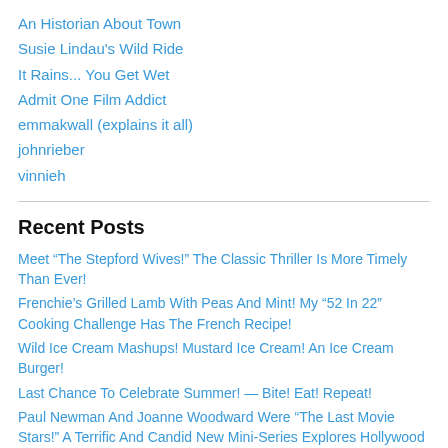An Historian About Town
Susie Lindau's Wild Ride
It Rains... You Get Wet
Admit One Film Addict
emmakwall (explains it all)
johnrieber
vinnieh
Recent Posts
Meet “The Stepford Wives!” The Classic Thriller Is More Timely Than Ever!
Frenchie’s Grilled Lamb With Peas And Mint! My “52 In 22” Cooking Challenge Has The French Recipe!
Wild Ice Cream Mashups! Mustard Ice Cream! An Ice Cream Burger!
Last Chance To Celebrate Summer! — Bite! Eat! Repeat!
Paul Newman And Joanne Woodward Were “The Last Movie Stars!” A Terrific And Candid New Mini-Series Explores Hollywood Royalty!
Tiny Capsule Travel Guides From SoraNews24! Miniature Guides In A